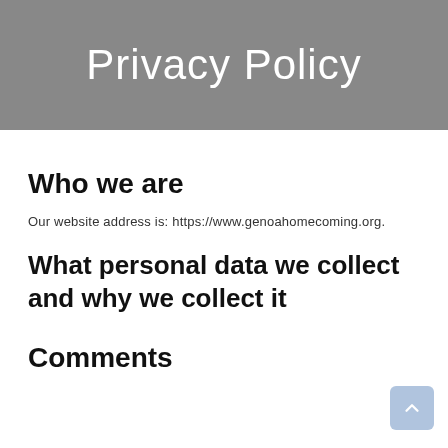Privacy Policy
Who we are
Our website address is: https://www.genoahomecoming.org.
What personal data we collect and why we collect it
Comments